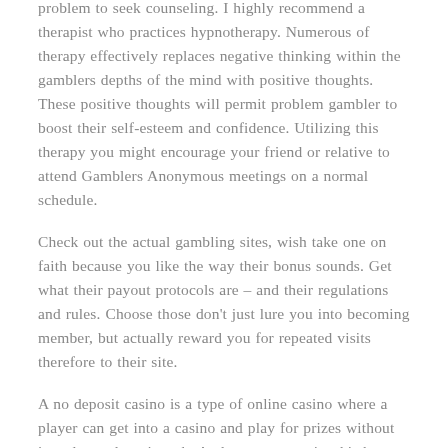problem to seek counseling. I highly recommend a therapist who practices hypnotherapy. Numerous of therapy effectively replaces negative thinking within the gamblers depths of the mind with positive thoughts. These positive thoughts will permit problem gambler to boost their self-esteem and confidence. Utilizing this therapy you might encourage your friend or relative to attend Gamblers Anonymous meetings on a normal schedule.
Check out the actual gambling sites, wish take one on faith because you like the way their bonus sounds. Get what their payout protocols are – and their regulations and rules. Choose those don't just lure you into becoming member, but actually reward you for repeated visits therefore to their site.
A no deposit casino is a type of online casino where a player can get into a casino and play for prizes without in order to deposit cash. A player can acquire this by signing at the a casino and then entering in data regarding how a deposit will use. No money will utilized out for the person's payment account as soon as the no deposit casino bonus is utilised. This can used simply in the presentation that the player does commit to play in the casino an use real deposits in the coming years.